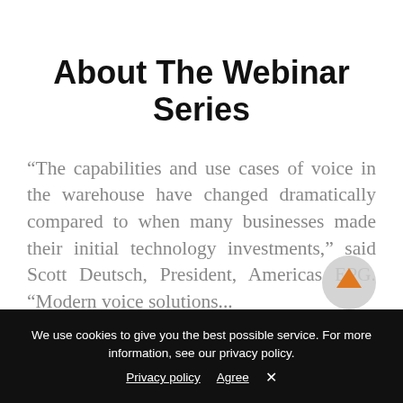About The Webinar Series
“The capabilities and use cases of voice in the warehouse have changed dramatically compared to when many businesses made their initial technology investments,” said Scott Deutsch, President, Americas EPG. “Modern voice solutions...
[Figure (other): Scroll-to-top button with orange upward arrow on a grey circular background, partially visible at bottom right of content area]
We use cookies to give you the best possible service. For more information, see our privacy policy. Privacy policy  Agree  ×